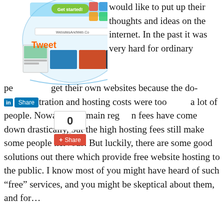[Figure (screenshot): Screenshot of a website builder/hosting interface showing colorful icons, a 'Get started!' green button, website thumbnails, and the URL WebsitesAndWeb.Co. Overlaid with social sharing widgets: Tweet label, LinkedIn Share button, a count box showing 0, and a Google+ Share button.]
would like to put up their thoughts and ideas on the internet. In the past it was very hard for ordinary people to get their own websites because the domain registration and hosting costs were too high for a lot of people. Nowadays domain registration fees have come down drastically, but the high hosting fees still make some people nervous. But luckily, there are some good solutions out there which provide free website hosting to the public. I know most of you might have heard of such “free” services, and you might be skeptical about them, and for…